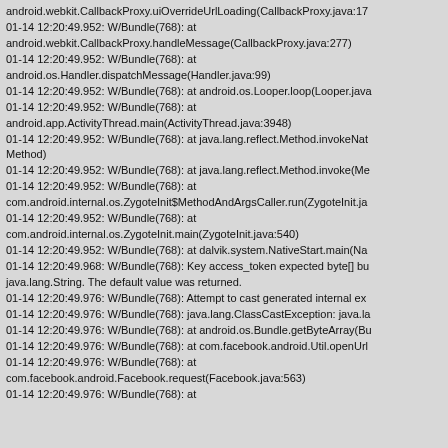android.webkit.CallbackProxy.uiOverrideUrlLoading(CallbackProxy.java:17
01-14 12:20:49.952: W/Bundle(768): at
android.webkit.CallbackProxy.handleMessage(CallbackProxy.java:277)
01-14 12:20:49.952: W/Bundle(768): at
android.os.Handler.dispatchMessage(Handler.java:99)
01-14 12:20:49.952: W/Bundle(768): at android.os.Looper.loop(Looper.java
01-14 12:20:49.952: W/Bundle(768): at
android.app.ActivityThread.main(ActivityThread.java:3948)
01-14 12:20:49.952: W/Bundle(768): at java.lang.reflect.Method.invokeNat
Method)
01-14 12:20:49.952: W/Bundle(768): at java.lang.reflect.Method.invoke(Me
01-14 12:20:49.952: W/Bundle(768): at
com.android.internal.os.ZygoteInit$MethodAndArgsCaller.run(ZygoteInit.ja
01-14 12:20:49.952: W/Bundle(768): at
com.android.internal.os.ZygoteInit.main(ZygoteInit.java:540)
01-14 12:20:49.952: W/Bundle(768): at dalvik.system.NativeStart.main(Na
01-14 12:20:49.968: W/Bundle(768): Key access_token expected byte[] bu
java.lang.String. The default value was returned.
01-14 12:20:49.976: W/Bundle(768): Attempt to cast generated internal ex
01-14 12:20:49.976: W/Bundle(768): java.lang.ClassCastException: java.la
01-14 12:20:49.976: W/Bundle(768): at android.os.Bundle.getByteArray(Bu
01-14 12:20:49.976: W/Bundle(768): at com.facebook.android.Util.openUrl
01-14 12:20:49.976: W/Bundle(768): at
com.facebook.android.Facebook.request(Facebook.java:563)
01-14 12:20:49.976: W/Bundle(768): at